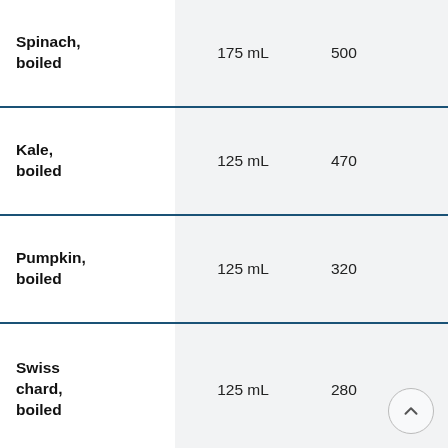| Spinach, boiled | 175 mL | 500 |
| Kale, boiled | 125 mL | 470 |
| Pumpkin, boiled | 125 mL | 320 |
| Swiss chard, boiled | 125 mL | 280 |
| Romaine lettuce, raw | 250 mL | 260 |
| Red leaf or green loose leaf | 250 mL | 220 |